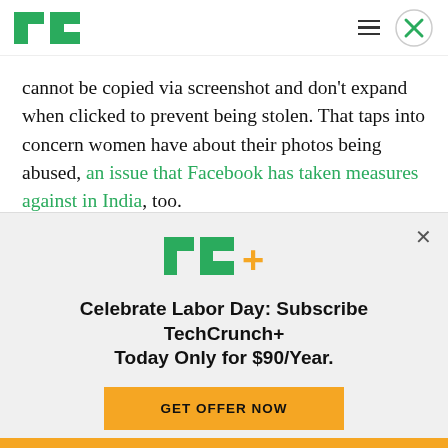TechCrunch
cannot be copied via screenshot and don't expand when clicked to prevent being stolen. That taps into concern women have about their photos being abused, an issue that Facebook has taken measures against in India, too.
In fact, at sign-up, Google asks users to agree to a
[Figure (screenshot): TechCrunch+ subscription banner overlay with TC+ logo, 'Celebrate Labor Day: Subscribe TechCrunch+ Today Only for $90/Year.' headline, and a yellow 'GET OFFER NOW' button]
Celebrate Labor Day: Subscribe TechCrunch+ Today Only for $90/Year.